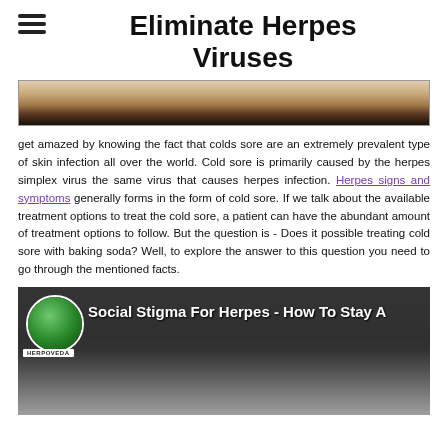Eliminate Herpes Viruses
[Figure (photo): Close-up photo of skin/eye area, partially cropped, dark at bottom]
get amazed by knowing the fact that colds sore are an extremely prevalent type of skin infection all over the world. Cold sore is primarily caused by the herpes simplex virus the same virus that causes herpes infection. Herpes signs and symptoms generally forms in the form of cold sore. If we talk about the available treatment options to treat the cold sore, a patient can have the abundant amount of treatment options to follow. But the question is - Does it possible treating cold sore with baking soda? Well, to explore the answer to this question you need to go through the mentioned facts.
[Figure (screenshot): Video thumbnail showing Herpoveda logo and title 'Social Stigma For Herpes - How To Stay A' with a person visible in background]